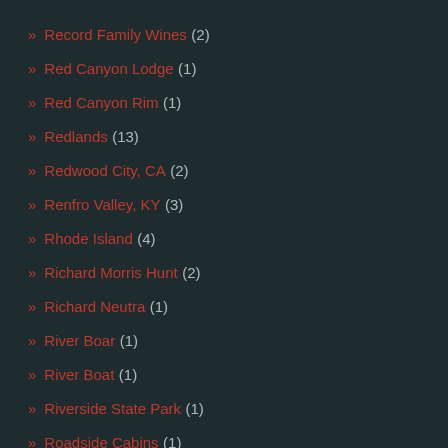» Record Family Wines (2)
» Red Canyon Lodge (1)
» Red Canyon Rim (1)
» Redlands (13)
» Redwood City, CA (2)
» Renfro Valley, KY (3)
» Rhode Island (4)
» Richard Morris Hunt (2)
» Richard Neutra (1)
» River Boar (1)
» River Boat (1)
» Riverside State Park (1)
» Roadside Cabins (1)
» Rock Springs, WY (3)